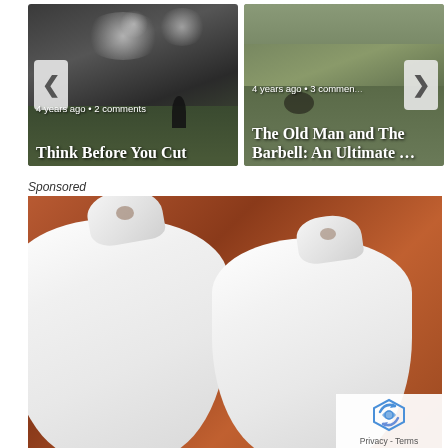[Figure (photo): Carousel of blog post cards. Left card: foggy nighttime sports field with floodlights and a lone figure, titled 'Think Before You Cut', 4 years ago, 2 comments. Right card: outdoor rugby/sports field photo, titled 'The Old Man and The Barbell: An Ultimate …', 4 years ago, 3 comments. Navigation arrows on sides.]
4 years ago • 2 comments
Think Before You Cut
4 years ago • 3 comments
The Old Man and The Barbell: An Ultimate …
Sponsored
[Figure (photo): Close-up advertisement photo of two white ceramic snowman-shaped figurines or sugar dispensers against a warm brown/terracotta blurred background. A reCAPTCHA privacy badge overlays the bottom-right corner with the text 'Privacy - Terms'.]
Privacy - Terms